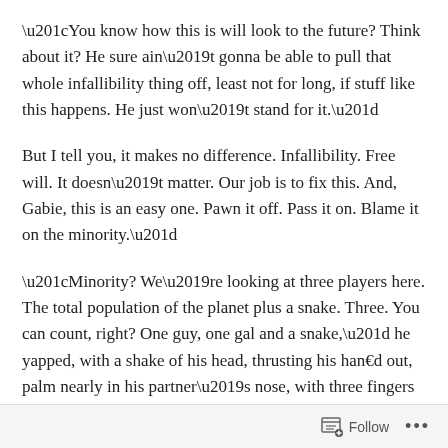“You know how this is will look to the future? Think about it? He sure ain’t gonna be able to pull that whole infallibility thing off, least not for long, if stuff like this happens. He just won’t stand for it.”
But I tell you, it makes no difference. Infallibility. Free will. It doesn’t matter. Our job is to fix this. And, Gabie, this is an easy one. Pawn it off. Pass it on. Blame it on the minority.”
“Minority? We’re looking at three players here. The total population of the planet plus a snake. Three. You can count, right? One guy, one gal and a snake,” he yapped, with a shake of his head, thrusting his han€d out, palm nearly in his partner’s nose, with three fingers aloft. “And
Follow •••